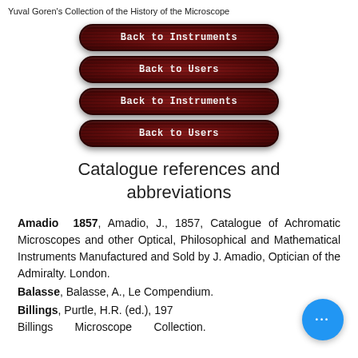Yuval Goren's Collection of the History of the Microscope
[Figure (screenshot): Four dark red pill-shaped navigation buttons: 'Back to Instruments', 'Back to Users', 'Back to Instruments', 'Back to Users']
Catalogue references and abbreviations
Amadio 1857, Amadio, J., 1857, Catalogue of Achromatic Microscopes and other Optical, Philosophical and Mathematical Instruments Manufactured and Sold by J. Amadio, Optician of the Admiralty. London.
Balasse, Balasse, A., Le Compendium.
Billings, Purtle, H.R. (ed.), 1974, Billings Microscope Collection.